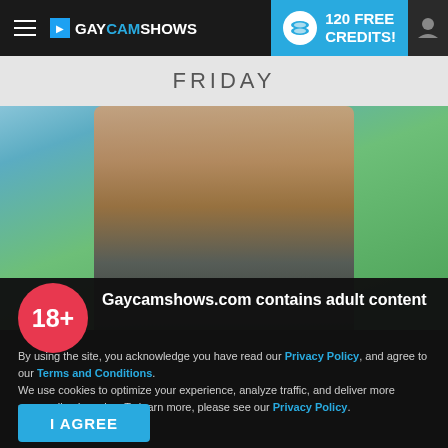GAYCAMSHOWS | 120 FREE CREDITS!
FRIDAY
[Figure (photo): Cropped photo of a person's torso wearing dark shorts against a green and blue background]
Gaycamshows.com contains adult content
By using the site, you acknowledge you have read our Privacy Policy, and agree to our Terms and Conditions.
We use cookies to optimize your experience, analyze traffic, and deliver more personalized service. To learn more, please see our Privacy Policy.
I AGREE